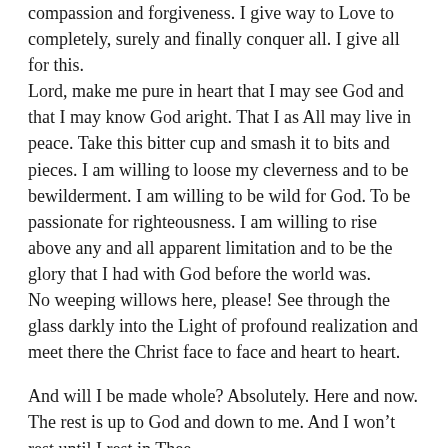compassion and forgiveness. I give way to Love to completely, surely and finally conquer all. I give all for this.
Lord, make me pure in heart that I may see God and that I may know God aright. That I as All may live in peace. Take this bitter cup and smash it to bits and pieces. I am willing to loose my cleverness and to be bewilderment. I am willing to be wild for God. To be passionate for righteousness. I am willing to rise above any and all apparent limitation and to be the glory that I had with God before the world was.
No weeping willows here, please! See through the glass darkly into the Light of profound realization and meet there the Christ face to face and heart to heart.
And will I be made whole? Absolutely. Here and now.
The rest is up to God and down to me. And I won’t rest until I rest in Thee.
Whither shall I go from thy Spirit?
Nowhere, Lord.
Selah, Selah.